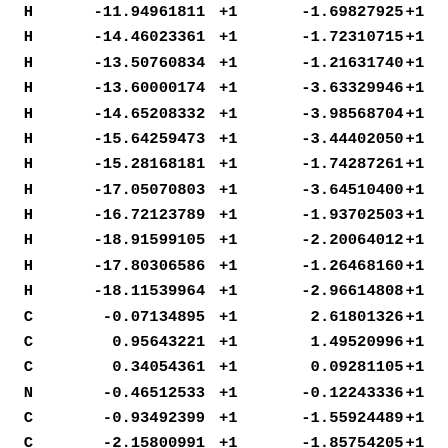| Atom | X | flag1 | Y | flag2 |
| --- | --- | --- | --- | --- |
| H | -11.94961811 | +1 | -1.69827925 | +1 |
| H | -14.46023361 | +1 | -1.72310715 | +1 |
| H | -13.50760834 | +1 | -1.21631740 | +1 |
| H | -13.60000174 | +1 | -3.63329946 | +1 |
| H | -14.65208332 | +1 | -3.98568704 | +1 |
| H | -15.64259473 | +1 | -3.44402050 | +1 |
| H | -15.28168181 | +1 | -1.74287261 | +1 |
| H | -17.05070803 | +1 | -3.64510400 | +1 |
| H | -16.72123789 | +1 | -1.93702503 | +1 |
| H | -18.91599105 | +1 | -2.20064012 | +1 |
| H | -17.80306586 | +1 | -1.26468160 | +1 |
| H | -18.11539964 | +1 | -2.96614808 | +1 |
| C | -0.07134895 | +1 | 2.61801326 | +1 |
| C | 0.95643221 | +1 | 1.49520996 | +1 |
| C | 0.34054361 | +1 | 0.09281105 | +1 |
| N | -0.46512533 | +1 | -0.12243336 | +1 |
| C | -0.93492399 | +1 | -1.55924489 | +1 |
| C | -2.15800991 | +1 | -1.85754205 | +1 |
| C | -2.63097200 | +1 | -3.28726939 | +1 |
| H | 0.41416405 | +1 | 3.58720750 | +1 |